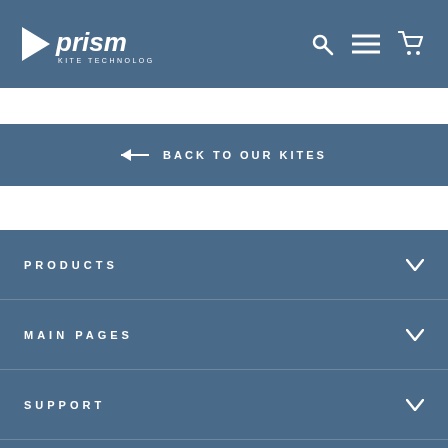Prism Kite Technology — header with logo, search, menu, and cart icons
← BACK TO OUR KITES
PRODUCTS
MAIN PAGES
SUPPORT
THE FINE PRINT